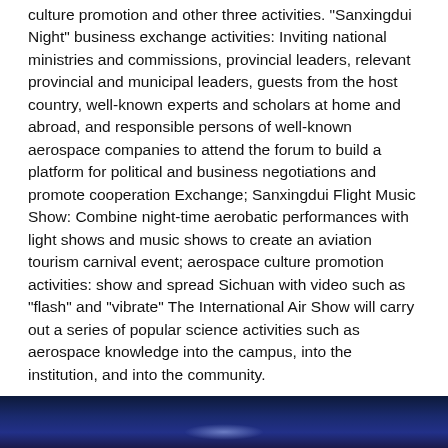culture promotion and other three activities. "Sanxingdui Night" business exchange activities: Inviting national ministries and commissions, provincial leaders, relevant provincial and municipal leaders, guests from the host country, well-known experts and scholars at home and abroad, and responsible persons of well-known aerospace companies to attend the forum to build a platform for political and business negotiations and promote cooperation Exchange; Sanxingdui Flight Music Show: Combine night-time aerobatic performances with light shows and music shows to create an aviation tourism carnival event; aerospace culture promotion activities: show and spread Sichuan with video such as “flash” and “vibrate” The International Air Show will carry out a series of popular science activities such as aerospace knowledge into the campus, into the institution, and into the community.
[Figure (photo): Dark blue nighttime photo, partially visible at bottom of page, appears to show an aerial or outdoor event scene.]